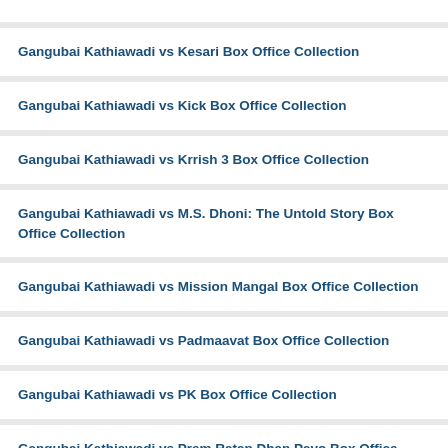Gangubai Kathiawadi vs Kesari Box Office Collection
Gangubai Kathiawadi vs Kick Box Office Collection
Gangubai Kathiawadi vs Krrish 3 Box Office Collection
Gangubai Kathiawadi vs M.S. Dhoni: The Untold Story Box Office Collection
Gangubai Kathiawadi vs Mission Mangal Box Office Collection
Gangubai Kathiawadi vs Padmaavat Box Office Collection
Gangubai Kathiawadi vs PK Box Office Collection
Gangubai Kathiawadi vs Prem Ratan Dhan Payo Box Office Collection
Gangubai Kathiawadi vs Pushpa: The Rise (Part 1) Box Office